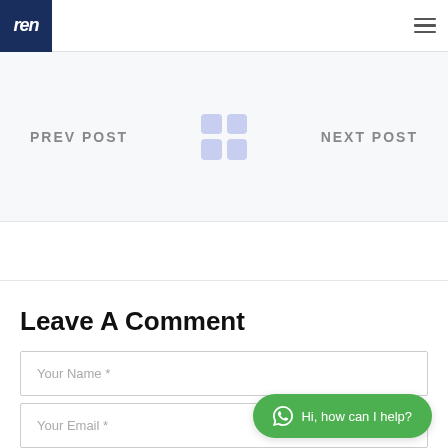ren
PREV POST
NEXT POST
Leave A Comment
Your Name *
Your Email *
Hi, how can I help?